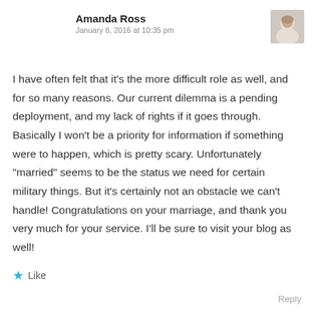Amanda Ross
January 8, 2016 at 10:35 pm
[Figure (photo): Small avatar photo of Amanda Ross, a woman with light hair]
I have often felt that it’s the more difficult role as well, and for so many reasons. Our current dilemma is a pending deployment, and my lack of rights if it goes through. Basically I won’t be a priority for information if something were to happen, which is pretty scary. Unfortunately “married” seems to be the status we need for certain military things. But it’s certainly not an obstacle we can’t handle! Congratulations on your marriage, and thank you very much for your service. I’ll be sure to visit your blog as well!
★ Like
Reply